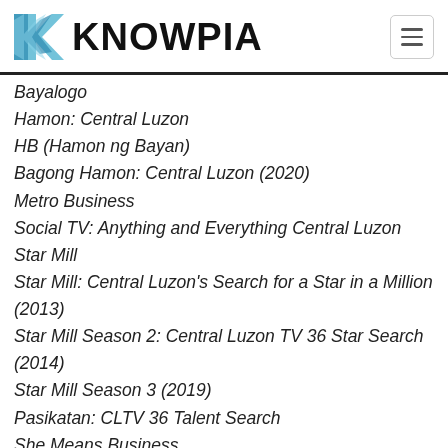KNOWPIA
Bayalogo
Hamon: Central Luzon
HB (Hamon ng Bayan)
Bagong Hamon: Central Luzon (2020)
Metro Business
Social TV: Anything and Everything Central Luzon
Star Mill
Star Mill: Central Luzon's Search for a Star in a Million (2013)
Star Mill Season 2: Central Luzon TV 36 Star Search (2014)
Star Mill Season 3 (2019)
Pasikatan: CLTV 36 Talent Search
She Means Business
His Life TV